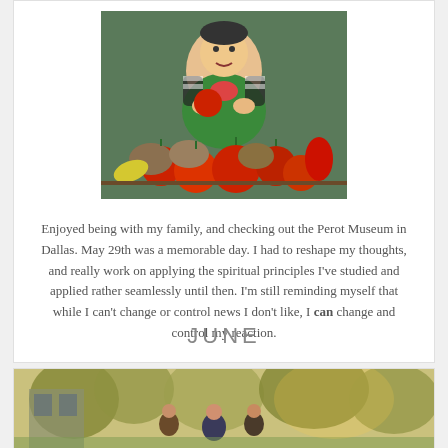[Figure (photo): A young child in a green dress sitting among vegetables including tomatoes, potatoes, peppers at what appears to be the Perot Museum in Dallas]
Enjoyed being with my family, and checking out the Perot Museum in Dallas. May 29th was a memorable day. I had to reshape my thoughts, and really work on applying the spiritual principles I've studied and applied rather seamlessly until then. I'm still reminding myself that while I can't change or control news I don't like, I can change and control my reaction.
JUNE
[Figure (photo): A group of people outdoors among trees, appears to be a family gathering in a garden or park setting with warm sunlight]